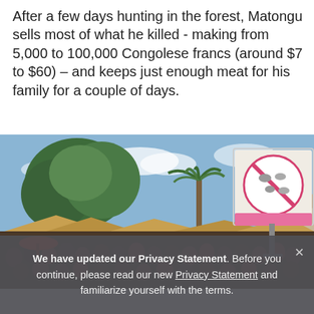After a few days hunting in the forest, Matongu sells most of what he killed - making from 5,000 to 100,000 Congolese francs (around $7 to $60) – and keeps just enough meat for his family for a couple of days.
[Figure (photo): Outdoor market scene with a crowd of people, trees including a tall palm tree, market stalls with thatched roofing, and a large billboard/sign featuring a pink prohibition circle with animal silhouettes (no hunting sign), against a partly cloudy blue sky.]
We have updated our Privacy Statement. Before you continue, please read our new Privacy Statement and familiarize yourself with the terms.